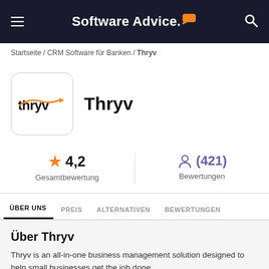Software Advice.
Startseite / CRM Software für Banken / Thryv
[Figure (logo): Thryv product logo — white box with rounded corners containing the thryv wordmark in black and orange]
Thryv
★ 4,2
Gesamtbewertung
(421)
Bewertungen
ÜBER UNS  PREIS  ALTERNATIVEN  BEWERTUNGEN
Über Thryv
Thryv is an all-in-one business management solution designed to help small businesses get the job done.